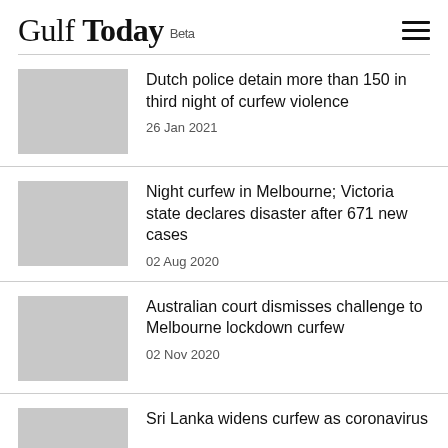Gulf Today Beta
Dutch police detain more than 150 in third night of curfew violence
26 Jan 2021
Night curfew in Melbourne; Victoria state declares disaster after 671 new cases
02 Aug 2020
Australian court dismisses challenge to Melbourne lockdown curfew
02 Nov 2020
Sri Lanka widens curfew as coronavirus